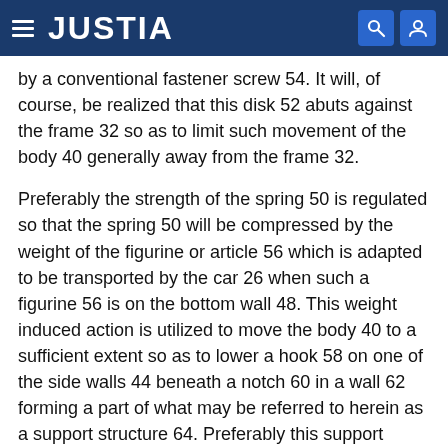JUSTIA
by a conventional fastener screw 54. It will, of course, be realized that this disk 52 abuts against the frame 32 so as to limit such movement of the body 40 generally away from the frame 32.
Preferably the strength of the spring 50 is regulated so that the spring 50 will be compressed by the weight of the figurine or article 56 which is adapted to be transported by the car 26 when such a figurine 56 is on the bottom wall 48. This weight induced action is utilized to move the body 40 to a sufficient extent so as to lower a hook 58 on one of the side walls 44 beneath a notch 60 in a wall 62 forming a part of what may be referred to herein as a support structure 64. Preferably this support structure 64 is formed so as to be a part of the first track section 14 and is located so as to extend generally alongside of this first track section 14.